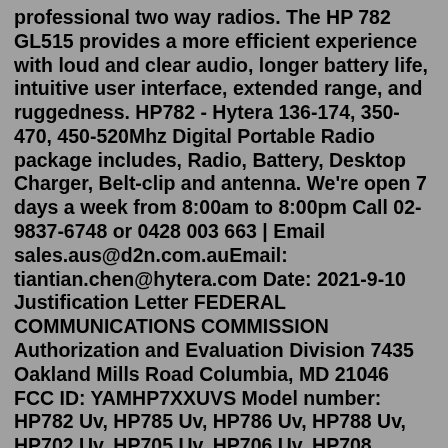professional two way radios. The HP 782 GL515 provides a more efficient experience with loud and clear audio, longer battery life, intuitive user interface, extended range, and ruggedness. HP782 - Hytera 136-174, 350-470, 450-520Mhz Digital Portable Radio package includes, Radio, Battery, Desktop Charger, Belt-clip and antenna. We're open 7 days a week from 8:00am to 8:00pm Call 02-9837-6748 or 0428 003 663 | Email sales.aus@d2n.com.auEmail: tiantian.chen@hytera.com Date: 2021-9-10 Justification Letter FEDERAL COMMUNICATIONS COMMISSION Authorization and Evaluation Division 7435 Oakland Mills Road Columbia, MD 21046 FCC ID: YAMHP7XXUVS Model number: HP782 Uv, HP785 Uv, HP786 Uv, HP788 Uv, HP702 Uv, HP705 Uv, HP706 Uv, HP708 UvThe HP702 and HP782 DMR handheld radios are the next-generation in creative style and functionality that elevates the industry standards in professional digital two-way radios. The HP702 and HP782 are